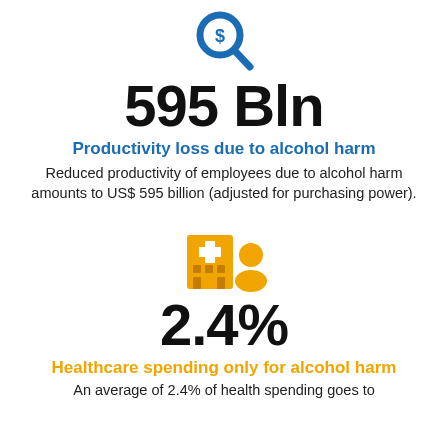[Figure (illustration): Blue magnifying glass icon with a dollar sign inside]
595 Bln
Productivity loss due to alcohol harm
Reduced productivity of employees due to alcohol harm amounts to US$ 595 billion (adjusted for purchasing power).
[Figure (illustration): Gold/yellow hospital building icon with a person silhouette]
2.4%
Healthcare spending only for alcohol harm
An average of 2.4% of health spending goes to